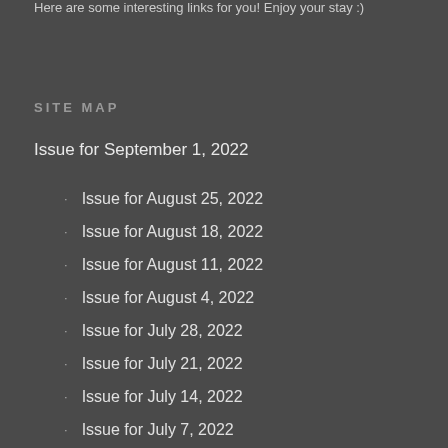Here are some interesting links for you! Enjoy your stay :)
SITE MAP
Issue for September 1, 2022
Issue for August 25, 2022
Issue for August 18, 2022
Issue for August 11, 2022
Issue for August 4, 2022
Issue for July 28, 2022
Issue for July 21, 2022
Issue for July 14, 2022
Issue for July 7, 2022